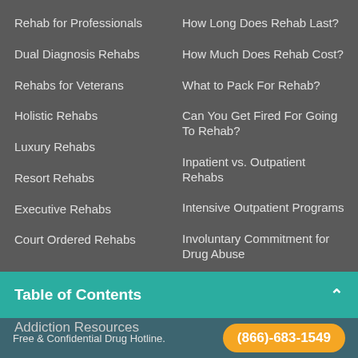Rehab for Professionals
Dual Diagnosis Rehabs
Rehabs for Veterans
Holistic Rehabs
Luxury Rehabs
Resort Rehabs
Executive Rehabs
Court Ordered Rehabs
How Long Does Rehab Last?
How Much Does Rehab Cost?
What to Pack For Rehab?
Can You Get Fired For Going To Rehab?
Inpatient vs. Outpatient Rehabs
Intensive Outpatient Programs
Involuntary Commitment for Drug Abuse
Table of Contents
Addiction Resources
Free & Confidential Drug Hotline. (866)-683-1549